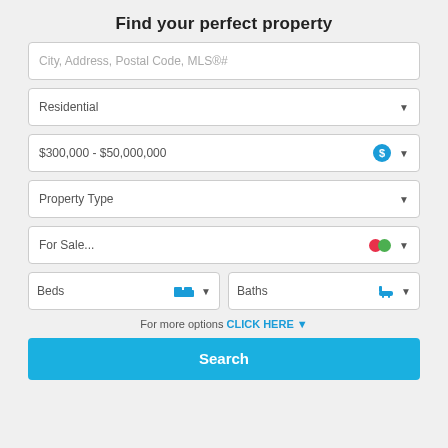Find your perfect property
City, Address, Postal Code, MLS®#
Residential
$300,000 - $50,000,000
Property Type
For Sale...
Beds
Baths
For more options CLICK HERE
Search